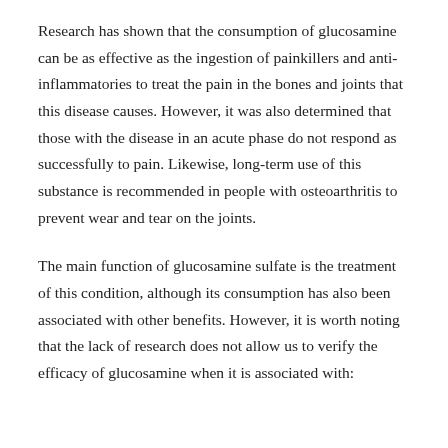Research has shown that the consumption of glucosamine can be as effective as the ingestion of painkillers and anti-inflammatories to treat the pain in the bones and joints that this disease causes. However, it was also determined that those with the disease in an acute phase do not respond as successfully to pain. Likewise, long-term use of this substance is recommended in people with osteoarthritis to prevent wear and tear on the joints.
The main function of glucosamine sulfate is the treatment of this condition, although its consumption has also been associated with other benefits. However, it is worth noting that the lack of research does not allow us to verify the efficacy of glucosamine when it is associated with: